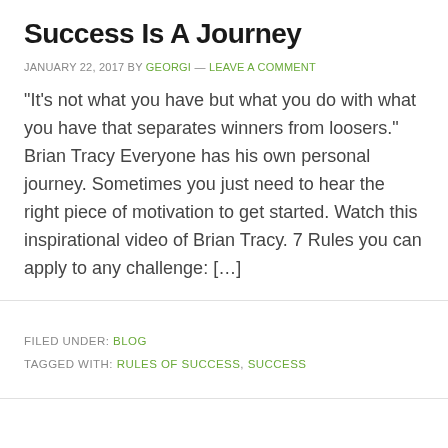Success Is A Journey
JANUARY 22, 2017 BY GEORGI — LEAVE A COMMENT
"It's not what you have but what you do with what you have that separates winners from loosers."   Brian Tracy Everyone has his own personal journey. Sometimes you just need to hear the right piece of motivation to get started. Watch this inspirational video of Brian Tracy. 7 Rules you can apply to any challenge: […]
FILED UNDER: BLOG
TAGGED WITH: RULES OF SUCCESS, SUCCESS